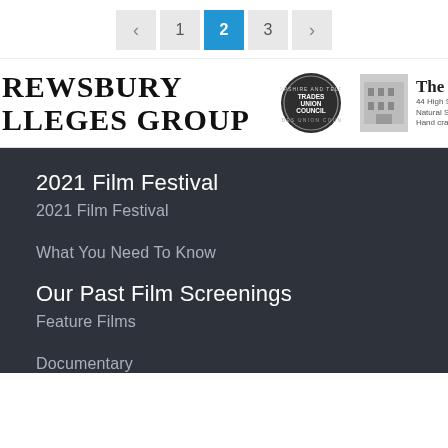< 1 2 3 >
[Figure (logo): Shrewsbury Colleges Group logo text, Shropshire and Telford Trades Union Council circular badge, a building photo, and The Blue [shop] logo with text 'Natural Soap, Hand crafted']
2021 Film Festival
2021 Film Festival
What You Need To Know
Our Past Film Screenings
Feature Films
Documentary